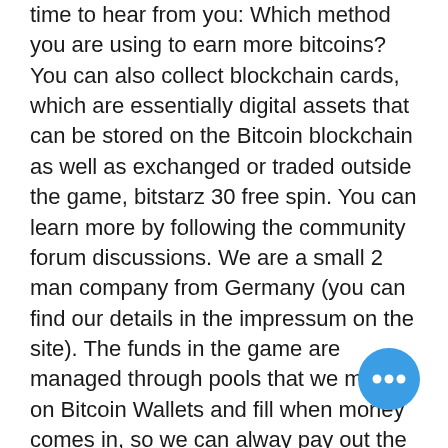time to hear from you: Which method you are using to earn more bitcoins? You can also collect blockchain cards, which are essentially digital assets that can be stored on the Bitcoin blockchain as well as exchanged or traded outside the game, bitstarz 30 free spin. You can learn more by following the community forum discussions. We are a small 2 man company from Germany (you can find our details in the impressum on the site). The funds in the game are managed through pools that we mirror on Bitcoin Wallets and fill when money comes in, so we can alway pay out the Bitcoins in the game, bitstarz 30 free spin. Although this may seem as a hiccup in the aesthetic perspective, this website layout helped bettors to experience fluid and instant gameplays and site navigation, bitstarz 30 no deposit spins. This website also integrated a chat feature on each of its games, which can serve as a socialization
[Figure (other): Blue circular chat/more-options button with three white dots]